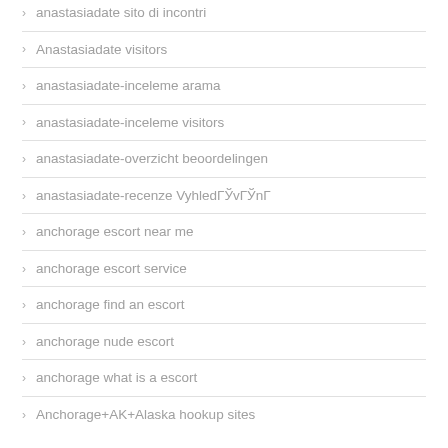anastasiadate sito di incontri
Anastasiadate visitors
anastasiadate-inceleme arama
anastasiadate-inceleme visitors
anastasiadate-overzicht beoordelingen
anastasiadate-recenze VyhledГЎvГЎnГ
anchorage escort near me
anchorage escort service
anchorage find an escort
anchorage nude escort
anchorage what is a escort
Anchorage+AK+Alaska hookup sites